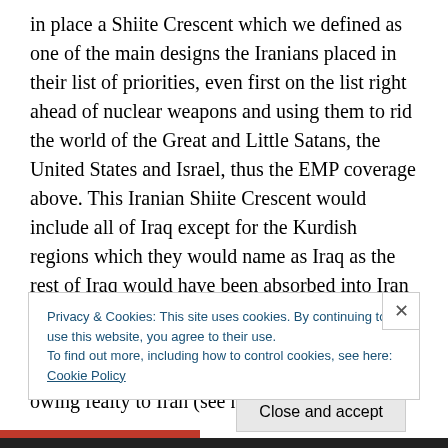in place a Shiite Crescent which we defined as one of the main designs the Iranians placed in their list of priorities, even first on the list right ahead of nuclear weapons and using them to rid the world of the Great and Little Satans, the United States and Israel, thus the EMP coverage above. This Iranian Shiite Crescent would include all of Iraq except for the Kurdish regions which they would name as Iraq as the rest of Iraq would have been absorbed into Iran along with Syria and Lebanon, though Syria would be managed by Bashir al-Assad and Lebanon would be a semiautonomous state owing fealty to Iran (see map
Privacy & Cookies: This site uses cookies. By continuing to use this website, you agree to their use.
To find out more, including how to control cookies, see here: Cookie Policy
Close and accept